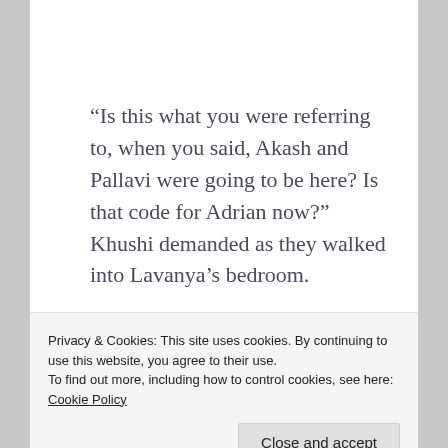“Is this what you were referring to, when you said, Akash and Pallavi were going to be here? Is that code for Adrian now?” Khushi demanded as they walked into Lavanya’s bedroom.
“Err.. sort of, huh.. maybe.” Lavanya said with nonchalance. “But what’s wrong with him Khushi?
Privacy & Cookies: This site uses cookies. By continuing to use this website, you agree to their use.
To find out more, including how to control cookies, see here: Cookie Policy
had grey eyes. Both men were tall and had